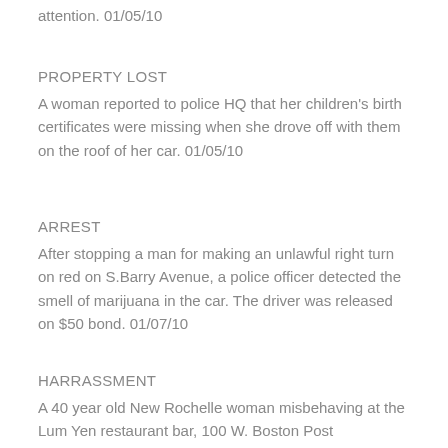attention. 01/05/10
PROPERTY LOST
A woman reported to police HQ that her children's birth certificates were missing when she drove off with them on the roof of her car. 01/05/10
ARREST
After stopping a man for making an unlawful right turn on red on S.Barry Avenue, a police officer detected the smell of marijuana in the car. The driver was released on $50 bond. 01/07/10
HARRASSMENT
A 40 year old New Rochelle woman misbehaving at the Lum Yen restaurant bar, 100 W. Boston Post